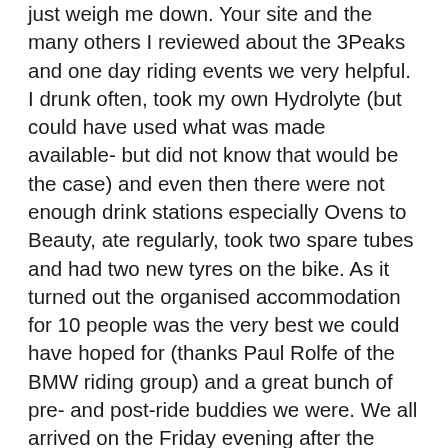just weigh me down. Your site and the many others I reviewed about the 3Peaks and one day riding events we very helpful. I drunk often, took my own Hydrolyte (but could have used what was made available- but did not know that would be the case) and even then there were not enough drink stations especially Ovens to Beauty, ate regularly, took two spare tubes and had two new tyres on the bike. As it turned out the organised accommodation for 10 people was the very best we could have hoped for (thanks Paul Rolfe of the BMW riding group) and a great bunch of pre- and post-ride buddies we were. We all arrived on the Friday evening after the long drive and ate early that evening, slept well and planned a short ride for Saturday back of Falls. Some of us woke early to get an idea of how cold it would be in the morning, good to know how many layers to have on,